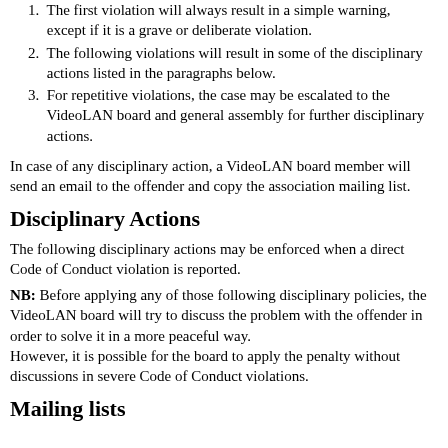1. The first violation will always result in a simple warning, except if it is a grave or deliberate violation.
2. The following violations will result in some of the disciplinary actions listed in the paragraphs below.
3. For repetitive violations, the case may be escalated to the VideoLAN board and general assembly for further disciplinary actions.
In case of any disciplinary action, a VideoLAN board member will send an email to the offender and copy the association mailing list.
Disciplinary Actions
The following disciplinary actions may be enforced when a direct Code of Conduct violation is reported.
NB: Before applying any of those following disciplinary policies, the VideoLAN board will try to discuss the problem with the offender in order to solve it in a more peaceful way.
However, it is possible for the board to apply the penalty without discussions in severe Code of Conduct violations.
Mailing lists